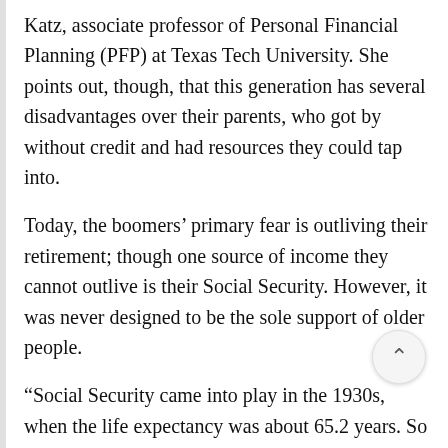Katz, associate professor of Personal Financial Planning (PFP) at Texas Tech University. She points out, though, that this generation has several disadvantages over their parents, who got by without credit and had resources they could tap into.
Today, the boomers' primary fear is outliving their retirement; though one source of income they cannot outlive is their Social Security. However, it was never designed to be the sole support of older people.
“Social Security came into play in the 1930s, when the life expectancy was about 65.2 years. So they (the government) did not expect people to use Social Security,” Katz said. “This generation may actually live longer in retirement than they